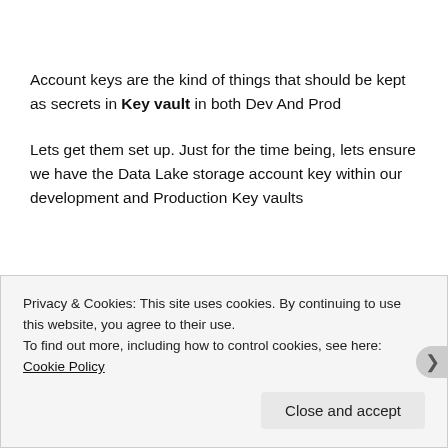Account keys are the kind of things that should be kept as secrets in Key vault in both Dev And Prod
Lets get them set up. Just for the time being, lets ensure we have the Data Lake storage account key within our development and Production Key vaults
Privacy & Cookies: This site uses cookies. By continuing to use this website, you agree to their use.
To find out more, including how to control cookies, see here: Cookie Policy